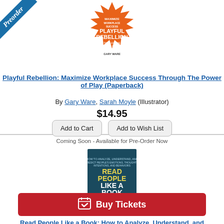[Figure (illustration): Preorder ribbon banner in blue on top-left corner]
[Figure (illustration): Book cover for Playful Rebellion by Gary Ware — orange starburst design with title text and author name]
Playful Rebellion: Maximize Workplace Success Through The Power of Play (Paperback)
By Gary Ware, Sarah Moyle (Illustrator)
$14.95
Add to Cart   Add to Wish List
Coming Soon - Available for Pre-Order Now
[Figure (illustration): Book cover for Read People Like a Book — dark teal cover with yellow and white title text]
[Figure (illustration): Red Buy Tickets button with calendar icon]
Read People Like a Book: How to Analyze, Understand, and